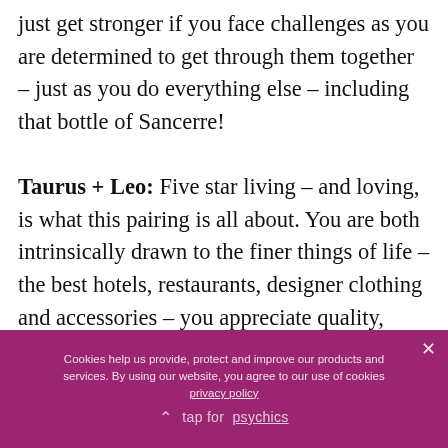just get stronger if you face challenges as you are determined to get through them together – just as you do everything else – including that bottle of Sancerre!

Taurus + Leo: Five star living – and loving, is what this pairing is all about. You are both intrinsically drawn to the finer things of life – the best hotels, restaurants, designer clothing and accessories – you appreciate quality, style and glamour. You two could literally be the two most beautiful people in the room and...
Cookies help us provide, protect and improve our products and services. By using our website, you agree to our use of cookies privacy policy

tap for psychics